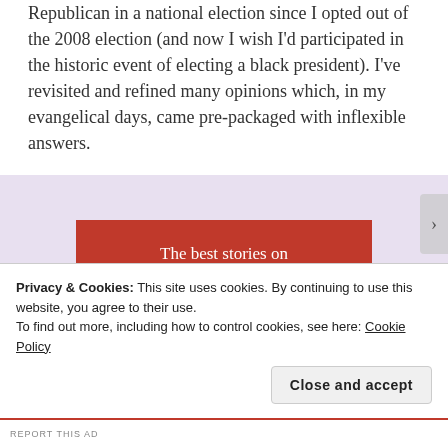Republican in a national election since I opted out of the 2008 election (and now I wish I'd participated in the historic event of electing a black president). I've revisited and refined many opinions which, in my evangelical days, came pre-packaged with inflexible answers.
[Figure (infographic): Red advertisement banner reading 'The best stories on the web – ours, and everyone else's.' with a black 'Start reading' button]
Privacy & Cookies: This site uses cookies. By continuing to use this website, you agree to their use.
To find out more, including how to control cookies, see here: Cookie Policy
Close and accept